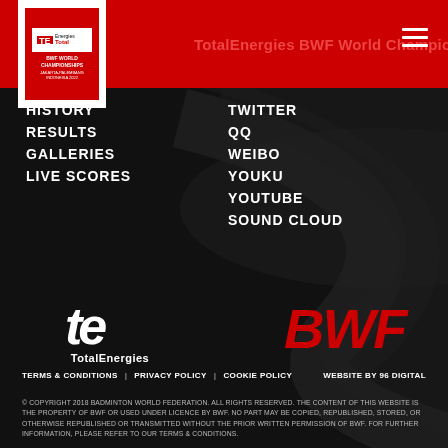TotalEnergies BWF World Championships
HISTORY
RESULTS
GALLERIES
LIVE SCORES
TWITTER
QQ
WEIBO
YOUKU
YOUTUBE
SOUND CLOUD
[Figure (logo): TotalEnergies logo in white with 'te' monogram and TotalEnergies text below]
[Figure (logo): BWF logo in red bold italic lettering]
TERMS & CONDITIONS | PRIVACY POLICY | COOKIE POLICY  WEBSITE BY 96 DIGITAL
© COPYRIGHT 2018 BADMINTON WORLD FEDERATION. ALL RIGHTS RESERVED. THE CONTENT OF THIS WEBSITE IS THE PROPERTY OF BWF OR USED UNDER LICENCE BY BWF. NO PART MAY BE COPIED, REPUBLISHED, STORED, OR OTHERWISE REPUBLISHED OR TRANSMITTED WITHOUT THE PRIOR WRITTEN PERMISSION OF BWF. FOR FURTHER INFORMATION, PLEASE REFER TO OUR TERMS & CONDITIONS.